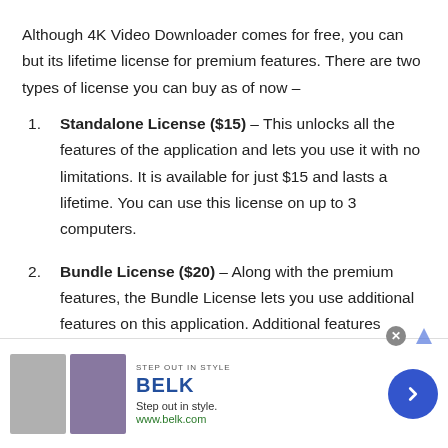Although 4K Video Downloader comes for free, you can but its lifetime license for premium features. There are two types of license you can buy as of now –
Standalone License ($15) – This unlocks all the features of the application and lets you use it with no limitations. It is available for just $15 and lasts a lifetime. You can use this license on up to 3 computers.
Bundle License ($20) – Along with the premium features, the Bundle License lets you use additional features on this application. Additional features include downloading Instagram Photos and Videos, etc.
[Figure (screenshot): Advertisement banner for BELK department store. Shows 'STEP OUT IN STYLE' tagline, BELK logo in blue, two product images, 'Step out in style.' text, 'www.belk.com' URL, a circular arrow button, close button, and ad indicator arrow.]